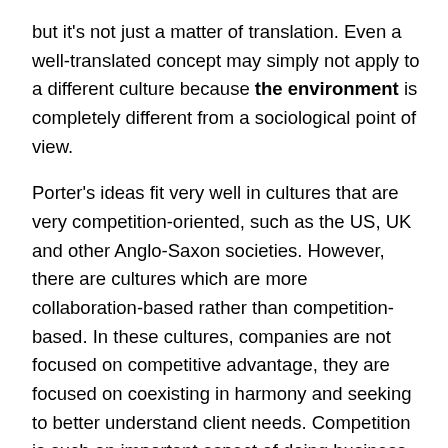but it's not just a matter of translation. Even a well-translated concept may simply not apply to a different culture because the environment is completely different from a sociological point of view.
Porter's ideas fit very well in cultures that are very competition-oriented, such as the US, UK and other Anglo-Saxon societies. However, there are cultures which are more collaboration-based rather than competition-based. In these cultures, companies are not focused on competitive advantage, they are focused on coexisting in harmony and seeking to better understand client needs. Competition is such an important aspect of doing business in Anglo-Saxon cultures that it may distract companies from their main purpose, which is actually… providing services and products to clients!